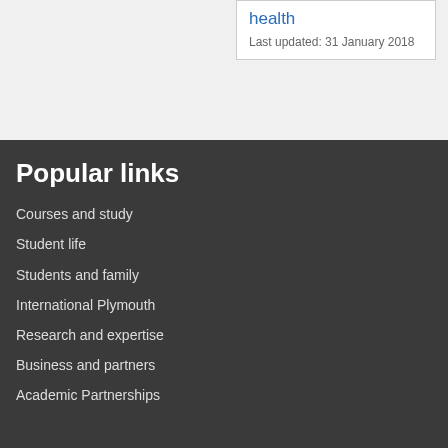hygiene and oral health
Last updated: 31 January 2018
Popular links
Courses and study
Student life
Students and family
International Plymouth
Research and expertise
Business and partners
Academic Partnerships